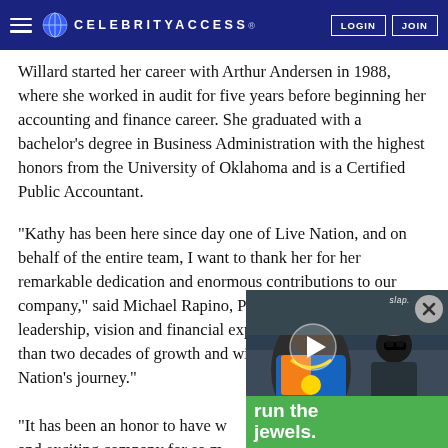CELEBRITYACCESS. LOGIN JOIN
Willard started her career with Arthur Andersen in 1988, where she worked in audit for five years before beginning her accounting and finance career. She graduated with a bachelor's degree in Business Administration with the highest honors from the University of Oklahoma and is a Certified Public Accountant.
“Kathy has been here since day one of Live Nation, and on behalf of the entire team, I want to thank her for her remarkable dedication and enormous contributions to our company,” said Michael Rapino, President and CEO. “Kathy’s leadership, vision and financial expertise have driven more than two decades of growth and will forever be part of Live Nation’s journey.”
“It has been an honor to have worked at this dynamic and exciting company for so many years. I am truly grateful to my Live Nation…
[Figure (screenshot): Video overlay showing two men (Run The Jewels), with green text caption 'run the jewels.' and a play button. A close button (X) appears in the top right corner. 'slap.' branding visible.]